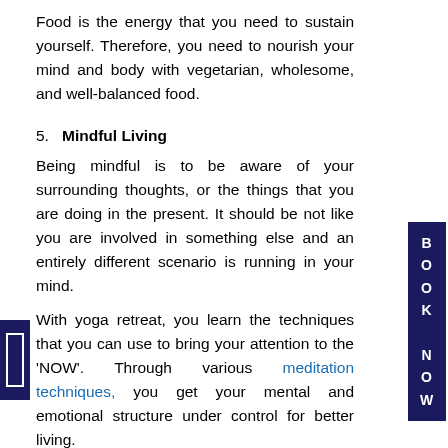Food is the energy that you need to sustain yourself. Therefore, you need to nourish your mind and body with vegetarian, wholesome, and well-balanced food.
5. Mindful Living
Being mindful is to be aware of your surrounding thoughts, or the things that you are doing in the present. It should be not like you are involved in something else and an entirely different scenario is running in your mind.
With yoga retreat, you learn the techniques that you can use to bring your attention to the ‘NOW’. Through various meditation techniques, you get your mental and emotional structure under control for better living.
What to Expect on a Yoga Retreat?
Before joining a yoga retreat, there are plenty of things that